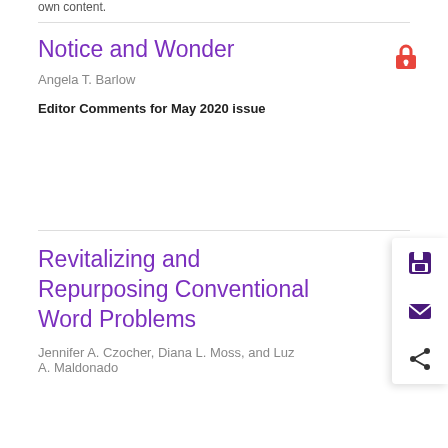own content.
Notice and Wonder
Angela T. Barlow
Editor Comments for May 2020 issue
Revitalizing and Repurposing Conventional Word Problems
Jennifer A. Czocher, Diana L. Moss, and Luz A. Maldonado